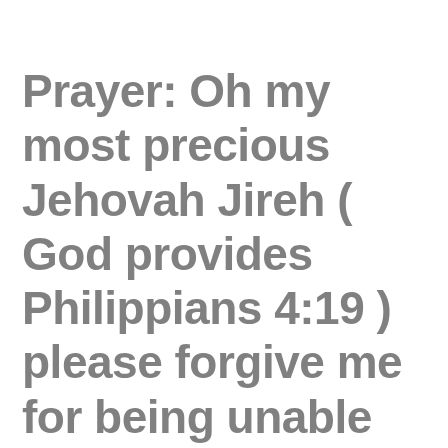Prayer: Oh my most precious Jehovah Jireh ( God provides Philippians 4:19 ) please forgive me for being unable to find the appropriate words to thank you for all the mental, physical and